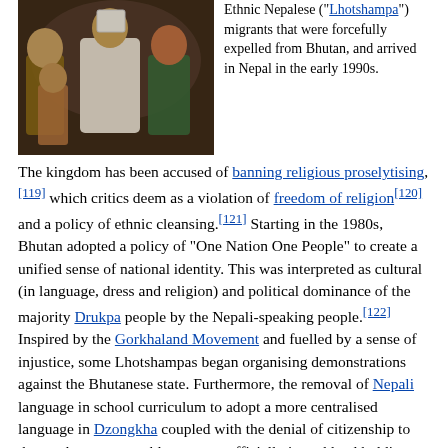[Figure (photo): Group of ethnic Nepalese people, with a man in white holding a document, surrounded by children and adults]
Ethnic Nepalese ("Lhotshampa") migrants that were forcefully expelled from Bhutan, and arrived in Nepal in the early 1990s.
The kingdom has been accused of banning religious proselytising,[119] which critics deem as a violation of freedom of religion[120] and a policy of ethnic cleansing.[121] Starting in the 1980s, Bhutan adopted a policy of "One Nation One People" to create a unified sense of national identity. This was interpreted as cultural (in language, dress and religion) and political dominance of the majority Drukpa people by the Nepali-speaking people.[122] Inspired by the Gorkhaland Movement and fuelled by a sense of injustice, some Lhotshampas began organising demonstrations against the Bhutanese state. Furthermore, the removal of Nepali language in school curriculum to adopt a more centralised language in Dzongkha coupled with the denial of citizenship to those who were not able to prove officially issued land holding title prior to 1950[123] was perceived as specifically targeting Lhotshampa population estimated to be one-third of the population at the time.[124] This resulted in widespread unrest and political